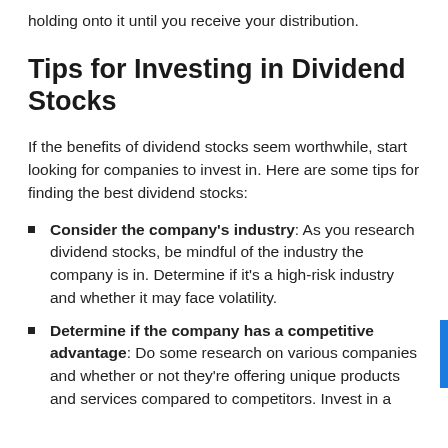holding onto it until you receive your distribution.
Tips for Investing in Dividend Stocks
If the benefits of dividend stocks seem worthwhile, start looking for companies to invest in. Here are some tips for finding the best dividend stocks:
Consider the company's industry: As you research dividend stocks, be mindful of the industry the company is in. Determine if it's a high-risk industry and whether it may face volatility.
Determine if the company has a competitive advantage: Do some research on various companies and whether or not they're offering unique products and services compared to competitors. Invest in a